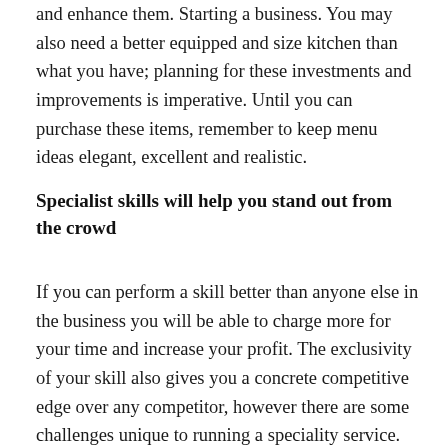and enhance them. Starting a business. You may also need a better equipped and size kitchen than what you have; planning for these investments and improvements is imperative. Until you can purchase these items, remember to keep menu ideas elegant, excellent and realistic.
Specialist skills will help you stand out from the crowd
If you can perform a skill better than anyone else in the business you will be able to charge more for your time and increase your profit. The exclusivity of your skill also gives you a concrete competitive edge over any competitor, however there are some challenges unique to running a speciality service.